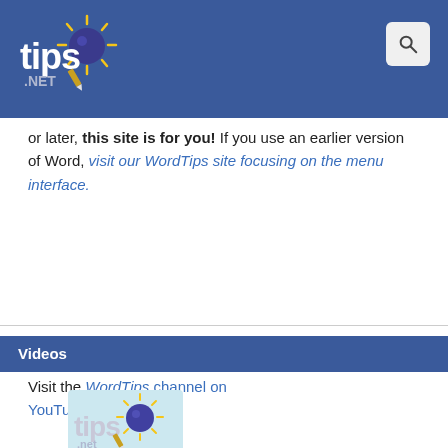tips.net logo and search icon
or later, this site is for you! If you use an earlier version of Word, visit our WordTips site focusing on the menu interface.
Videos
Visit the WordTips channel on YouTube
[Figure (logo): WordTips logo thumbnail with text 'WordTips Bring Life to Your Words' on light blue background]